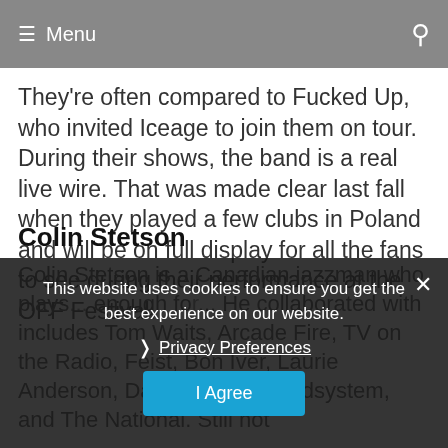≡ Menu
They're often compared to Fucked Up, who invited Iceage to join them on tour. During their shows, the band is a real live wire. That was made clear last fall when they played a few clubs in Poland and will be on full display for all the fans to see during their performance at the OFF Festival.
Colin Stetson
Colin Stetson is a Canadian jazzman who plays... enough for... He collaborated with includes Tom Waits, Arcade Fire, TV on the Radio, Feist, Bon Iver, Laurie Anderson, Dav ne, LCD Soundsystem, and The National. Still not
This website uses cookies to ensure you get the best experience on our website.
Privacy Preferences
I Agree